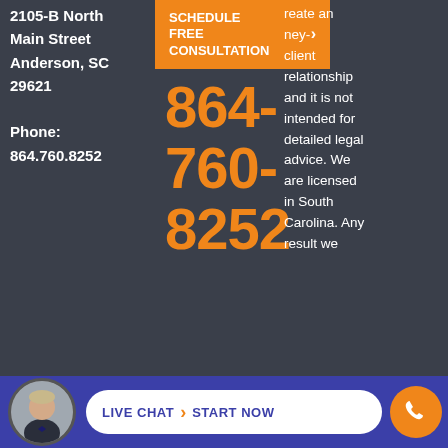2105-B North Main Street Anderson, SC 29621 Phone: 864.760.8252
[Figure (other): Orange schedule free consultation button with arrow]
864-760-8252
...reate an ...ney-client relationship and it is not intended for detailed legal advice. We are licensed in South Carolina. Any result we
[Figure (other): Bottom bar with lawyer avatar photo, Live Chat Start Now pill button, and orange phone call circle button]